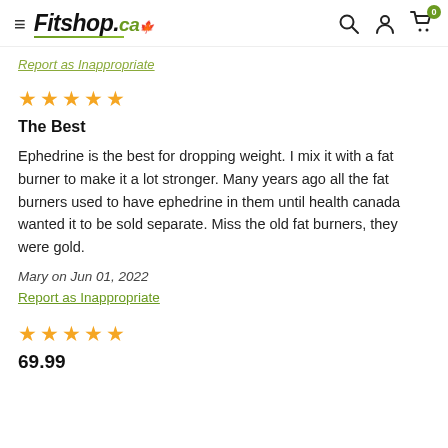Fitshop.ca — navigation header with search, account, and cart icons
Report as Inappropriate
[Figure (other): 5 gold star rating icons]
The Best
Ephedrine is the best for dropping weight. I mix it with a fat burner to make it a lot stronger. Many years ago all the fat burners used to have ephedrine in them until health canada wanted it to be sold separate. Miss the old fat burners, they were gold.
Mary on Jun 01, 2022
Report as Inappropriate
[Figure (other): 5 gold star rating icons]
69.99